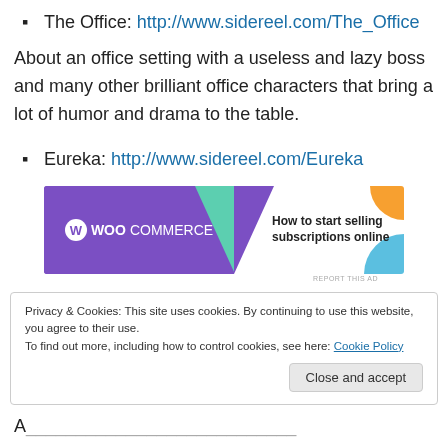The Office: http://www.sidereel.com/The_Office
About an office setting with a useless and lazy boss and many other brilliant office characters that bring a lot of humor and drama to the table.
Eureka: http://www.sidereel.com/Eureka
[Figure (screenshot): WooCommerce advertisement banner: purple background with WooCommerce logo on left, text 'How to start selling subscriptions online' on right with geometric color shapes]
Privacy & Cookies: This site uses cookies. By continuing to use this website, you agree to their use. To find out more, including how to control cookies, see here: Cookie Policy
Close and accept
A ...